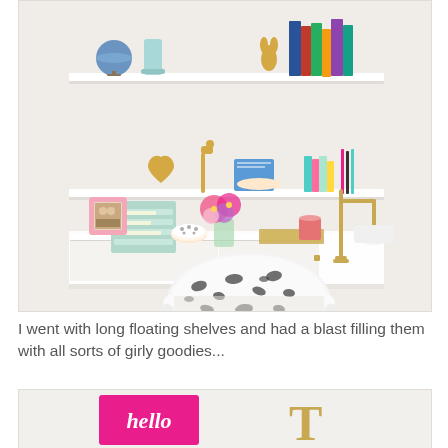[Figure (photo): A styled home office desk scene with two white floating shelves above a white desk. The shelves hold decorative items including a globe, a teal vase, books, a gold heart, figurines, and colorful accessories. The desk has a mint green paper organizer, a pink photo frame, a vase of pink and purple flowers, a gold desk lamp, a patterned bowl, and various small items. A white chair with black dalmatian-print upholstery sits in front.]
I went with long floating shelves and had a blast filling them with all sorts of girly goodies...
[Figure (photo): Partial view of a second photo showing decorative items including a pink sign with cursive text reading 'hello' and a gold letter T on a white background.]